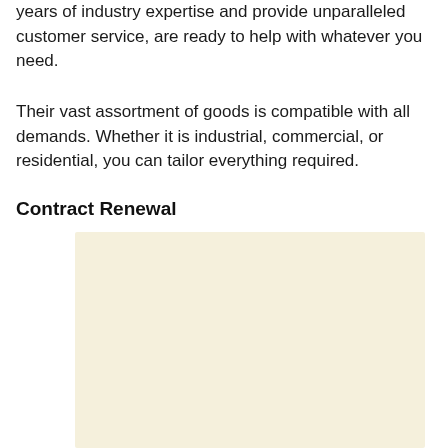years of industry expertise and provide unparalleled customer service, are ready to help with whatever you need.
Their vast assortment of goods is compatible with all demands. Whether it is industrial, commercial, or residential, you can tailor everything required.
Contract Renewal
[Figure (other): A blank cream/beige colored rectangular box, likely a placeholder for an image or form content related to Contract Renewal.]